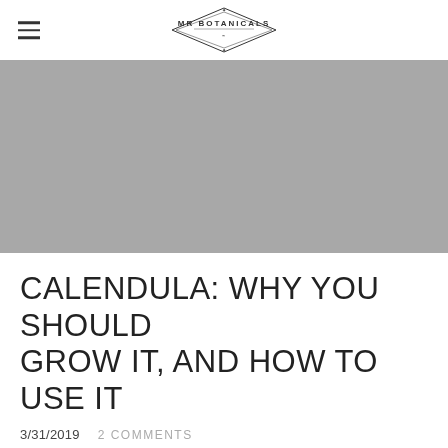MR BOTANICALS
[Figure (photo): Gray placeholder hero image for a blog article about calendula]
CALENDULA: WHY YOU SHOULD GROW IT, AND HOW TO USE IT
3/31/2019   2 COMMENTS